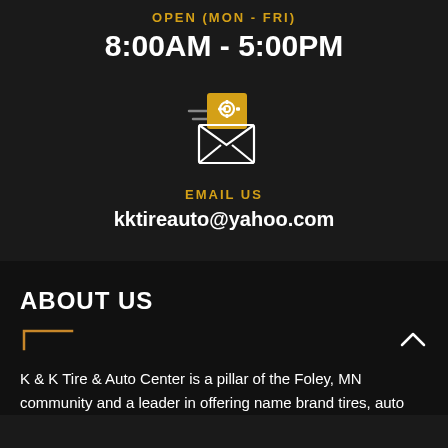OPEN (MON - FRI)
8:00AM - 5:00PM
[Figure (illustration): Email icon: envelope with a yellow gear/settings icon card coming out of it, with motion lines indicating movement]
EMAIL US
kktireauto@yahoo.com
ABOUT US
K & K Tire & Auto Center is a pillar of the Foley, MN community and a leader in offering name brand tires, auto